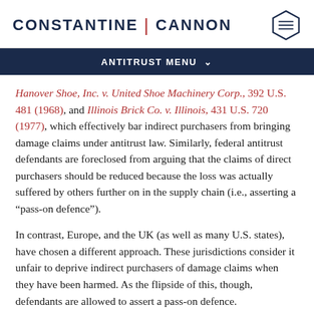CONSTANTINE | CANNON
ANTITRUST MENU
Hanover Shoe, Inc. v. United Shoe Machinery Corp., 392 U.S. 481 (1968), and Illinois Brick Co. v. Illinois, 431 U.S. 720 (1977), which effectively bar indirect purchasers from bringing damage claims under antitrust law. Similarly, federal antitrust defendants are foreclosed from arguing that the claims of direct purchasers should be reduced because the loss was actually suffered by others further on in the supply chain (i.e., asserting a “pass-on defence”).
In contrast, Europe, and the UK (as well as many U.S. states), have chosen a different approach. These jurisdictions consider it unfair to deprive indirect purchasers of damage claims when they have been harmed. As the flipside of this, though, defendants are allowed to assert a pass-on defence.
However one might feel about the fairness, or otherwise, of